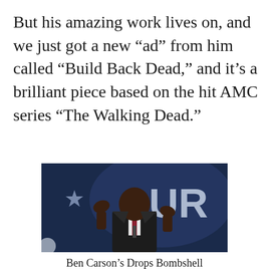But his amazing work lives on, and we just got a new “ad” from him called “Build Back Dead,” and it’s a brilliant piece based on the hit AMC series “The Walking Dead.”
[Figure (photo): Ben Carson speaking at a podium, wearing a dark suit and dark red tie, with hands raised, in front of a dark blue background with a star and letters 'CUR' visible.]
Ben Carson's Drops Bombshell